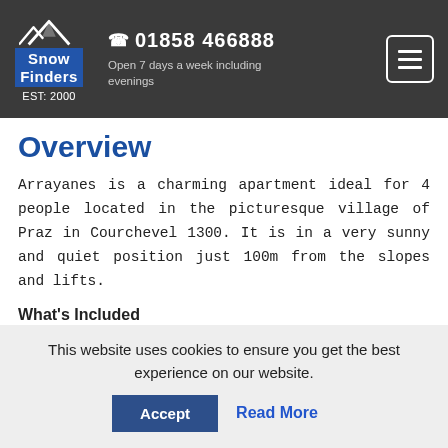Snow Finders EST: 2000 | 01858 466888 | Open 7 days a week including evenings
Overview
Arrayanes is a charming apartment ideal for 4 people located in the picturesque village of Praz in Courchevel 1300. It is in a very sunny and quiet position just 100m from the slopes and lifts.
What's Included
The apartment for the duration of your holiday.
This website uses cookies to ensure you get the best experience on our website.